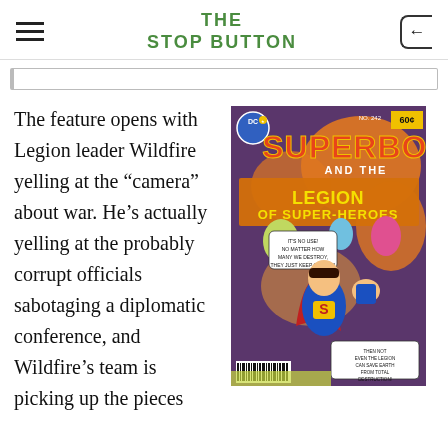THE STOP BUTTON
The feature opens with Legion leader Wildfire yelling at the “camera” about war. He’s actually yelling at the probably corrupt officials sabotaging a diplomatic conference, and Wildfire’s team is picking up the pieces
[Figure (photo): Comic book cover: Superboy and the Legion of Super-Heroes, DC Comics, 60 cents, No. 242. Shows Superboy flying with fist raised, other Legion heroes in background, speech bubbles reading 'It's no use! No matter how many we destroy, they just keep coming!' and 'Then not even the Legion can save Earth from total destruction!']